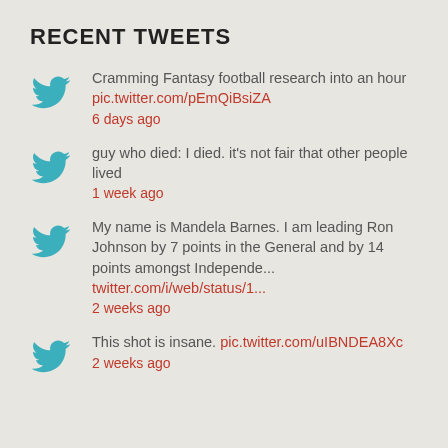RECENT TWEETS
Cramming Fantasy football research into an hour pic.twitter.com/pEmQiBsiZA 6 days ago
guy who died: I died. it's not fair that other people lived 1 week ago
My name is Mandela Barnes. I am leading Ron Johnson by 7 points in the General and by 14 points amongst Independe... twitter.com/i/web/status/1... 2 weeks ago
This shot is insane. pic.twitter.com/uIBNDEA8Xc 2 weeks ago